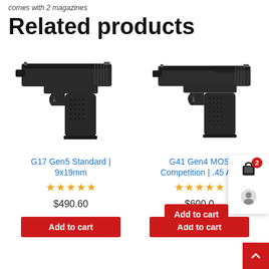comes with 2 magazines
Related products
[Figure (photo): Photo of Glock G17 Gen5 Standard 9x19mm pistol, black, side profile facing right]
G17 Gen5 Standard | 9x19mm
★★★★★ $490.60
[Figure (photo): Photo of Glock G41 Gen4 MOS Competition .45 Aut pistol, black, side profile facing right, partially cut off]
G41 Gen4 MOS Competition | .45 Aut
★★★★★ $600.0